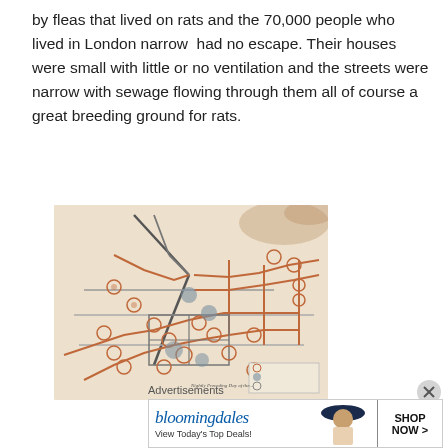by fleas that lived on rats and the 70,000 people who lived in London narrow  had no escape. Their houses were small with little or no ventilation and the streets were narrow with sewage flowing through them all of course a great breeding ground for rats.
[Figure (map): Illustrated London Underground-style map showing plague death locations overlaid on a stylized tube map, with orange/brown circular markers indicating plague deaths across various stations and areas. Title reads 'Nightly Preceding Day of the...']
Advertisements
[Figure (other): Bloomingdale's advertisement banner showing logo, 'View Today's Top Deals!' text, a woman in a hat, and a 'SHOP NOW >' button]